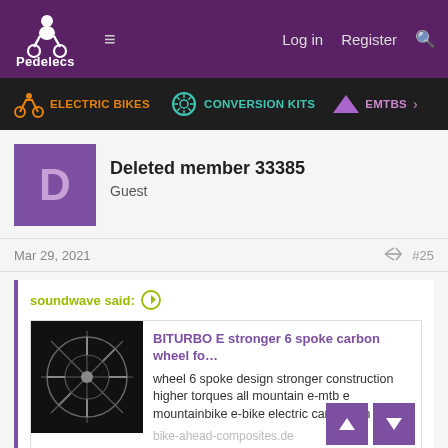Pedelecs — Log in  Register
ELECTRIC BIKES  CONVERSION KITS  EMTBS
Deleted member 33385
Guest
Mar 29, 2021
#25
soundwave said:
BITURBO E stronger 6 spoke carbon wheel fo…
wheel 6 spoke design stronger construction higher torques all mountain e-mtb e mountainbike e-bike electric carbon rim
bike-ahead-composites.de